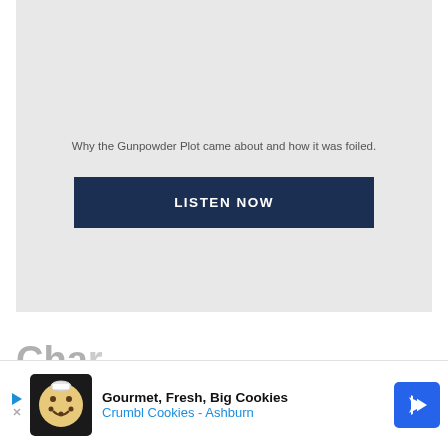[Figure (other): Gray background media/podcast player box with caption text and a Listen Now button]
Why the Gunpowder Plot came about and how it was foiled.
Cha
[Figure (other): Advertisement banner: Gourmet, Fresh, Big Cookies - Crumbl Cookies - Ashburn with cookie logo and navigation arrow icon]